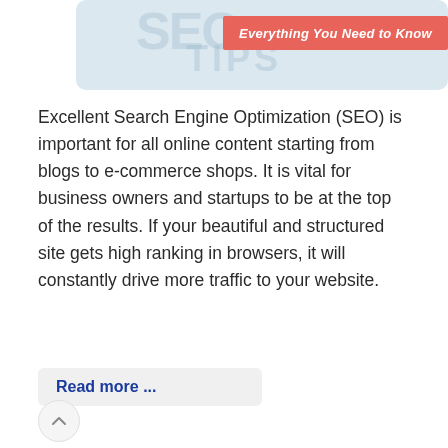[Figure (illustration): SEO TIPS banner image with light blue background, large watermark text 'SEO TIPS', and a salmon/coral colored badge reading 'Everything You Need to Know' in italic bold white text on the right side.]
Excellent Search Engine Optimization (SEO) is important for all online content starting from blogs to e-commerce shops. It is vital for business owners and startups to be at the top of the results. If your beautiful and structured site gets high ranking in browsers, it will constantly drive more traffic to your website.
Read more ...